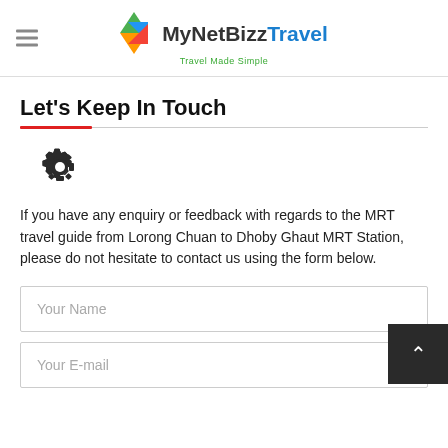MyNetBizz Travel — Travel Made Simple
Let's Keep In Touch
[Figure (illustration): Gear/settings icon]
If you have any enquiry or feedback with regards to the MRT travel guide from Lorong Chuan to Dhoby Ghaut MRT Station, please do not hesitate to contact us using the form below.
Your Name
Your E-mail